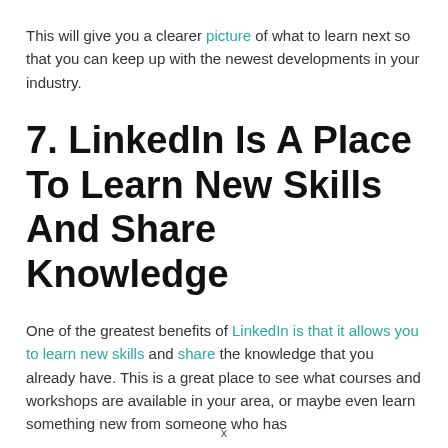This will give you a clearer picture of what to learn next so that you can keep up with the newest developments in your industry.
7. LinkedIn Is A Place To Learn New Skills And Share Knowledge
One of the greatest benefits of LinkedIn is that it allows you to learn new skills and share the knowledge that you already have. This is a great place to see what courses and workshops are available in your area, or maybe even learn something new from someone who has
x